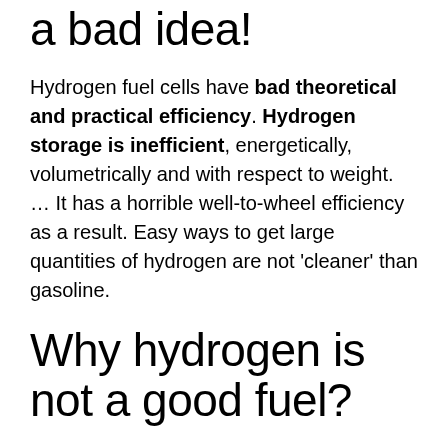a bad idea!
Hydrogen fuel cells have bad theoretical and practical efficiency. Hydrogen storage is inefficient, energetically, volumetrically and with respect to weight. … It has a horrible well-to-wheel efficiency as a result. Easy ways to get large quantities of hydrogen are not 'cleaner' than gasoline.
Why hydrogen is not a good fuel?
Because it has such a low energy density, hydrogen needs to be stored and transported under high pressure — which makes it bulky and impractical. The pressure issue compounds another issue with